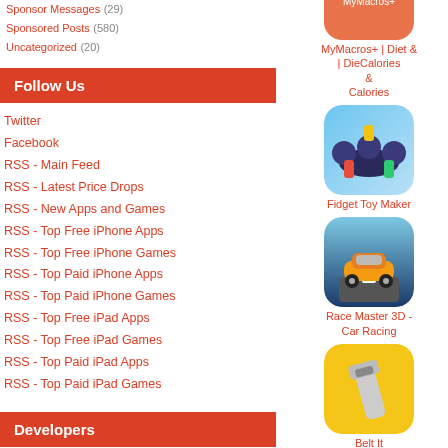Sponsor Messages (29)
Sponsored Posts (580)
Uncategorized (20)
Follow Us
Twitter
Facebook
RSS - Main Feed
RSS - Latest Price Drops
RSS - New Apps and Games
RSS - Top Free iPhone Apps
RSS - Top Free iPhone Games
RSS - Top Paid iPhone Apps
RSS - Top Paid iPhone Games
RSS - Top Free iPad Apps
RSS - Top Free iPad Games
RSS - Top Paid iPad Apps
RSS - Top Paid iPad Games
Developers
Would you like your application
[Figure (screenshot): MyMacros+ | Diet & Calories app icon - partially visible at top]
MyMacros+ | Diet & Calories
[Figure (screenshot): Fidget Toy Maker app icon]
Fidget Toy Maker
[Figure (screenshot): Race Master 3D - Car Racing app icon showing orange sports car]
Race Master 3D - Car Racing
[Figure (screenshot): Belt It app icon on yellow background showing safety belt]
Belt It
[Figure (screenshot): NFL Clash app icon partially visible at bottom with close X button]